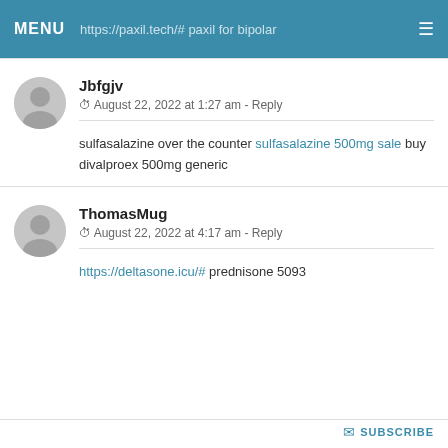MENU  https://paxil.tech/# paxil for bipolar  ☰
Jbfgjv
© August 22, 2022 at 1:27 am - Reply
sulfasalazine over the counter sulfasalazine 500mg sale buy divalproex 500mg generic
ThomasMug
© August 22, 2022 at 4:17 am - Reply
https://deltasone.icu/# prednisone 5093